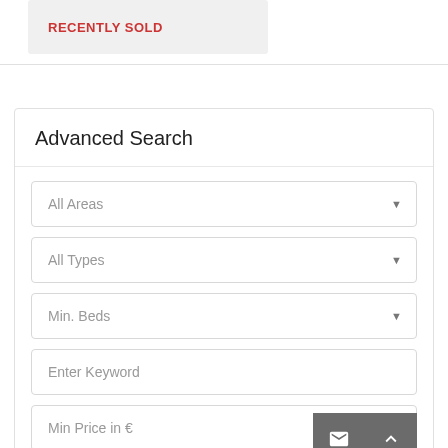RECENTLY SOLD
Advanced Search
All Areas
All Types
Min. Beds
Enter Keyword
Min Price in €